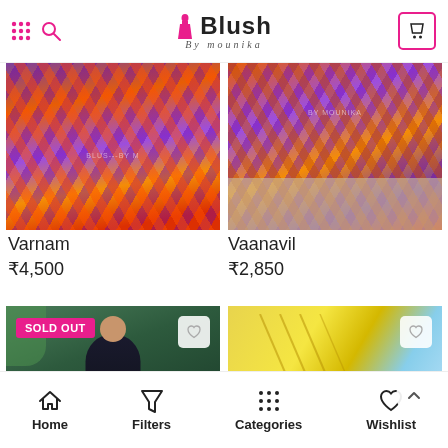Blush By mounika — app header with grid, search, and cart icons
[Figure (photo): Close-up of colorful zigzag patterned saree skirt in orange, purple, and red tones — product Varnam]
[Figure (photo): Close-up of colorful zigzag patterned saree with feet visible on pavement — product Vaanavil]
Varnam
₹4,500
Vaanavil
₹2,850
[Figure (photo): Woman in black outfit standing outdoors, product card with SOLD OUT badge and heart icon]
[Figure (photo): Yellow fabric/garment with blue sky background and a child visible, heart icon and scroll-up button]
Home  Filters  Categories  Wishlist